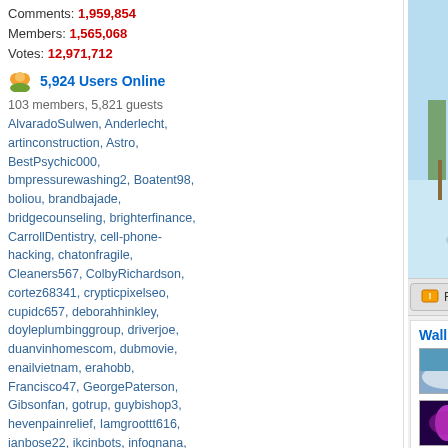Comments: 1,959,854
Members: 1,565,068
Votes: 12,971,712
5,924 Users Online
103 members, 5,821 guests
AlvaradoSulwen, Anderlecht, artinconstruction, Astro, BestPsychic000, bmpressurewashing2, Boatent98, boliou, brandbajade, bridgecounseling, brighterfinance, CarrollDentistry, cell-phone-hacking, chatonfragile, Cleaners567, ColbyRichardson, cortez68341, crypticpixelseo, cupidc657, deborahhinkley, doyleplumbinggroup, driverjoe, duanvinhomescom, dubmovie, enailvietnam, erahobb, Francisco47, GeorgePaterson, Gibsonfan, gotrup, guybishop3, hevenpainrelief, Iamgroottt616, ianbose22, ikcinbots, infognana, Installationvinyl11, jasonguck, JokersStash, josephfirarae, jun8888, KayaXu8, khungnhomkinhvietphon..., kinggohan, Lalina, Lamamake, leonbetappin, lertuiosq, lilla811, lirikmerch, maayash, macthanhvu, marquisbarkley, mayapatil281995, McKinneysTX, mikepaxson, missshweta, mistydaydream1, mod.CG, modzoro, mumtazdental, naw889today, phaosir777
[Figure (photo): Christmas winter scene painting showing a horse-drawn sleigh with passengers on a snowy road, with people and a dog in the background]
Report This Wallpaper
Add To F...
Wallpaper Groups
Snow
14,695 images  353 members  4 comments
Christmas Collections
937 images  23 members  0 comments
Leave a comment...
Wallpaper Comments (4)